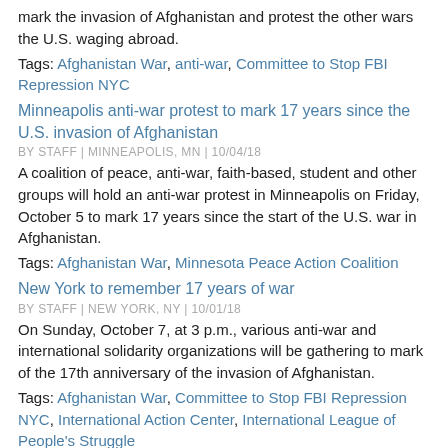mark the invasion of Afghanistan and protest the other wars the U.S. waging abroad.
Tags: Afghanistan War, anti-war, Committee to Stop FBI Repression NYC
Minneapolis anti-war protest to mark 17 years since the U.S. invasion of Afghanistan
BY STAFF | MINNEAPOLIS, MN | 10/04/18
A coalition of peace, anti-war, faith-based, student and other groups will hold an anti-war protest in Minneapolis on Friday, October 5 to mark 17 years since the start of the U.S. war in Afghanistan.
Tags: Afghanistan War, Minnesota Peace Action Coalition
New York to remember 17 years of war
BY STAFF | NEW YORK, NY | 10/01/18
On Sunday, October 7, at 3 p.m., various anti-war and international solidarity organizations will be gathering to mark of the 17th anniversary of the invasion of Afghanistan.
Tags: Afghanistan War, Committee to Stop FBI Repression NYC, International Action Center, International League of People's Struggle
Twin Cities anti-war activists respond to Trump Afghanistan speech
BY STAFF | MINNEAPOLIS, MN | 8/22/17